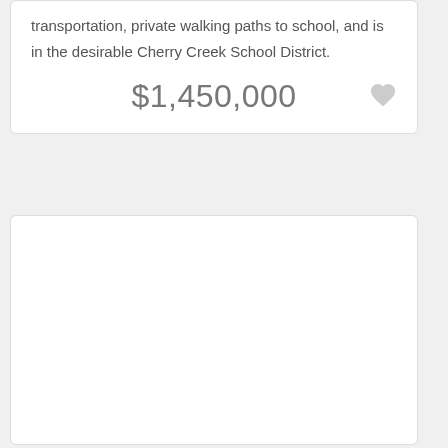transportation, private walking paths to school, and is in the desirable Cherry Creek School District.
$1,450,000
[Figure (photo): Outdoor photo of a residential property showing tall pine trees, a wooden split-rail fence, a driveway, green lawn, and a blue sky. A mailbox with the number 3900 is visible near the fence gate.]